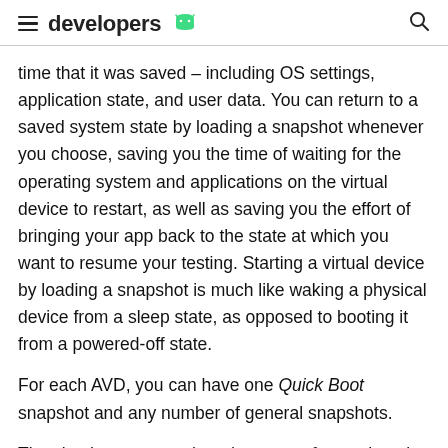developers
time that it was saved – including OS settings, application state, and user data. You can return to a saved system state by loading a snapshot whenever you choose, saving you the time of waiting for the operating system and applications on the virtual device to restart, as well as saving you the effort of bringing your app back to the state at which you want to resume your testing. Starting a virtual device by loading a snapshot is much like waking a physical device from a sleep state, as opposed to booting it from a powered-off state.
For each AVD, you can have one Quick Boot snapshot and any number of general snapshots.
The simplest way to take advantage of snapshots is to use Quick Boot snapshots: By default, each AVD is set to automatically save a Quick Boot snapshot on exit and load